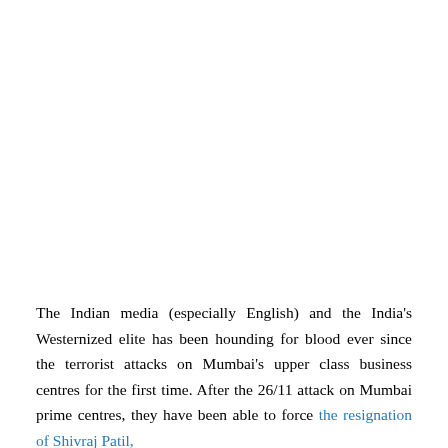The Indian media (especially English) and the India's Westernized elite has been hounding for blood ever since the terrorist attacks on Mumbai's upper class business centres for the first time. After the 26/11 attack on Mumbai prime centres, they have been able to force the resignation of Shivraj Patil,